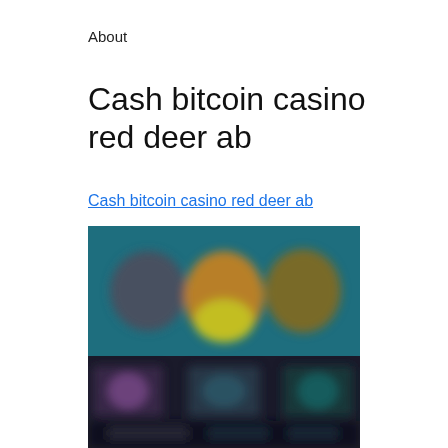About
Cash bitcoin casino red deer ab
Cash bitcoin casino red deer ab
[Figure (photo): Blurred screenshot of a casino gaming website showing game thumbnails and colorful character graphics on a dark background]